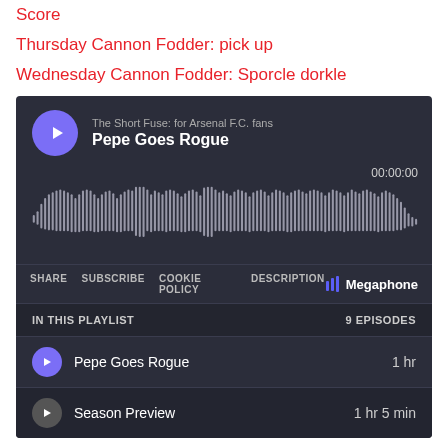Score
Thursday Cannon Fodder: pick up
Wednesday Cannon Fodder: Sporcle dorkle
[Figure (screenshot): Megaphone podcast player widget showing 'The Short Fuse: for Arsenal F.C. fans' - episode 'Pepe Goes Rogue' with waveform, time 00:00:00, share/subscribe/cookie policy/description links, playlist with 9 episodes including 'Pepe Goes Rogue' (1 hr) and 'Season Preview' (1 hr 5 min)]